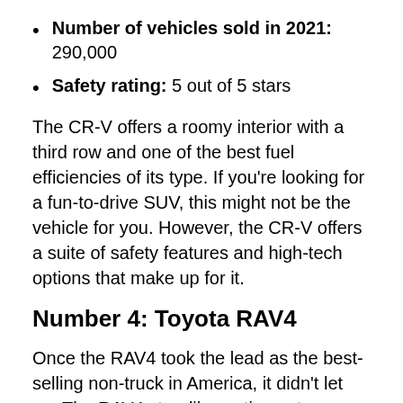Number of vehicles sold in 2021: 290,000
Safety rating: 5 out of 5 stars
The CR-V offers a roomy interior with a third row and one of the best fuel efficiencies of its type. If you’re looking for a fun-to-drive SUV, this might not be the vehicle for you. However, the CR-V offers a suite of safety features and high-tech options that make up for it.
Number 4: Toyota RAV4
Once the RAV4 took the lead as the best-selling non-truck in America, it didn’t let up. The RAV4 steadily continues to grow in popularity. It’s easy to see why with excellent safety features and an appealing look.